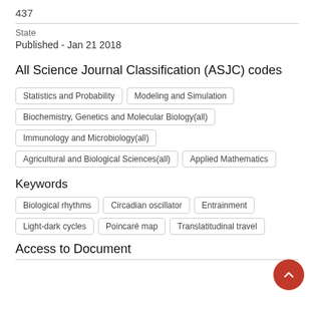437
State
Published - Jan 21 2018
All Science Journal Classification (ASJC) codes
Statistics and Probability
Modeling and Simulation
Biochemistry, Genetics and Molecular Biology(all)
Immunology and Microbiology(all)
Agricultural and Biological Sciences(all)
Applied Mathematics
Keywords
Biological rhythms
Circadian oscillator
Entrainment
Light-dark cycles
Poincaré map
Translatitudinal travel
Access to Document